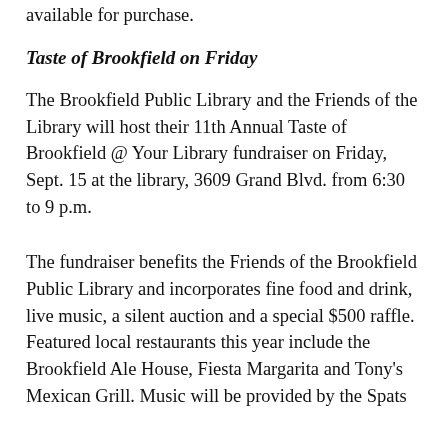available for purchase.
Taste of Brookfield on Friday
The Brookfield Public Library and the Friends of the Library will host their 11th Annual Taste of Brookfield @ Your Library fundraiser on Friday, Sept. 15 at the library, 3609 Grand Blvd. from 6:30 to 9 p.m.
The fundraiser benefits the Friends of the Brookfield Public Library and incorporates fine food and drink, live music, a silent auction and a special $500 raffle. Featured local restaurants this year include the Brookfield Ale House, Fiesta Margarita and Tony's Mexican Grill. Music will be provided by the Spats